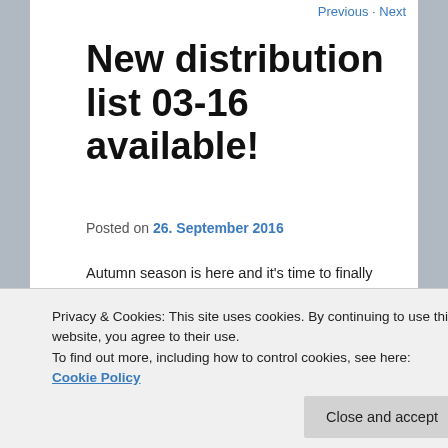Previous · Next
New distribution list 03-16 available!
Posted on 26. September 2016
Autumn season is here and it's time to finally upload another update of my fanzine distribution list for you out there!
And again I managed to find a good bunch of new zines
SINISTER FLAME, new old stock copies of SHRUNKEN
Privacy & Cookies: This site uses cookies. By continuing to use this website, you agree to their use.
To find out more, including how to control cookies, see here: Cookie Policy